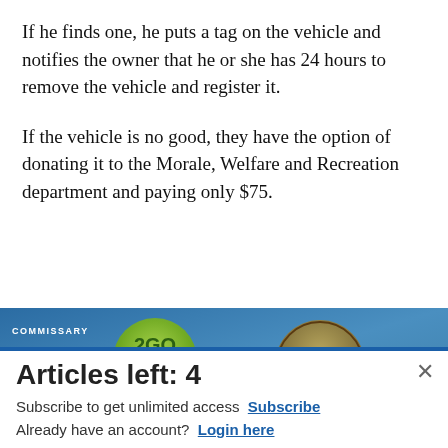If he finds one, he puts a tag on the vehicle and notifies the owner that he or she has 24 hours to remove the vehicle and register it.
If the vehicle is no good, they have the option of donating it to the Morale, Welfare and Recreation department and paying only $75.
[Figure (screenshot): Advertisement banner for Commissary Click2Go with logo, green circle badge, and text 'order groceries | PICKUP']
Articles left: 4
Subscribe to get unlimited access Subscribe
Already have an account? Login here